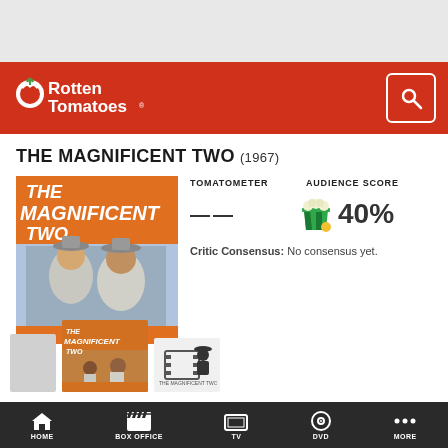[Figure (screenshot): Rotten Tomatoes app header with red background logo and search button]
THE MAGNIFICENT TWO (1967)
[Figure (photo): Movie poster for The Magnificent Two showing two men in hats]
TOMATOMETER
AUDIENCE SCORE
——
40%
Critic Consensus: No consensus yet.
HOME   BOX OFFICE   TV   DVD   MORE